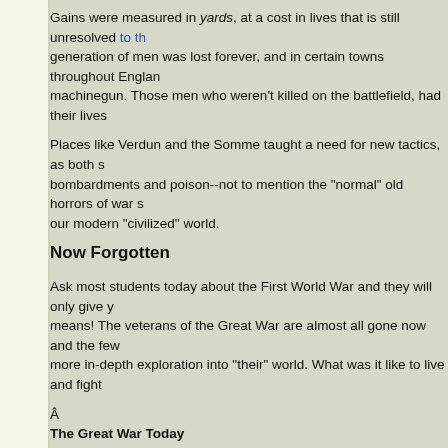Gains were measured in yards, at a cost in lives that is still unresolved to th generation of men was lost forever, and in certain towns throughout Englan machinegun. Those men who weren't killed on the battlefield, had their lives
Places like Verdun and the Somme taught a need for new tactics, as both s bombardments and poison--not to mention the "normal" old horrors of war s our modern "civilized" world.
Now Forgotten
Ask most students today about the First World War and they will only give y means! The veterans of the Great War are almost all gone now and the few more in-depth exploration into "their" world. What was it like to live and fight
Â
The Great War Today
The accurate recreation of such an era of warfare has been no simple task, created the closest thing possible. These battlefields have trenches, bunker and full-scale over-the-top assaults. Nighttime is punctuated by trench raids sound of a hand-to-hand struggle, as each side battles for possession of the land," the quiet of a shell hole is interrupted by a form in the dark, which cou your lap. After the fight, you scurry back to your trenches, but even this can hail of fire for having forgotten the "password." You tumble back into the saf breath and then a long drink of water. Hopefully, the enemy won't drop a mo